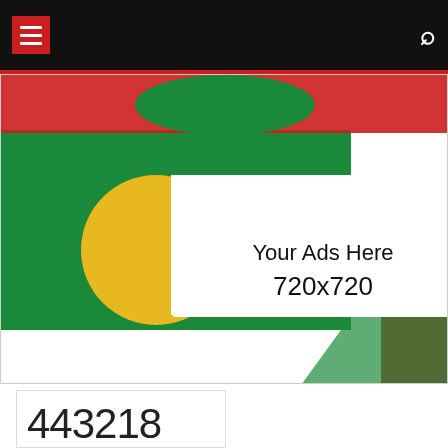[Figure (screenshot): Website navigation bar with dark/black background, red square menu (hamburger) button on left, and white search icon on right]
[Figure (infographic): Advertisement placeholder image showing Google Chrome-style logo with yellow, green, red, white sections, text 'Your Ads Here 720x720']
[Figure (logo): ST red square logo label with red horizontal line, red up-arrow button, WhatsApp green circle button]
443218